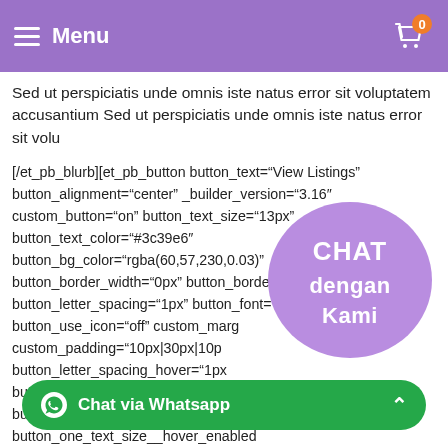Menu
Sed ut perspiciatis unde omnis iste natus error sit voluptatem accusantium Sed ut perspiciatis unde omnis iste natus error sit volu
[/et_pb_blurb][et_pb_button button_text="View Listings" button_alignment="center" _builder_version="3.16" custom_button="on" button_text_size="13px" button_text_color="#3c39e6" button_bg_color="rgba(60,57,230,0.03)" button_border_width="0px" button_border_radius="6px" button_letter_spacing="1px" button_font="|Lato|700||on|||||" button_use_icon="off" custom_marg... custom_padding="10px|30px|10p... button_letter_spacing_hover="1px... button_bg_color_hover="rgba(60,... off" button_text_size__hover_enabled=... button_one_text_size__hover_enabled... button_two_text_size__hover_enabled="off" button_text_color__hov... button_one_text_color__hover_enabled="on" button_two_text_color__hover_enabled="off"
[Figure (infographic): Purple chat bubble with text CHAT dengan Kami]
[Figure (infographic): Green WhatsApp chat bar with text Chat via Whatsapp and up arrow]